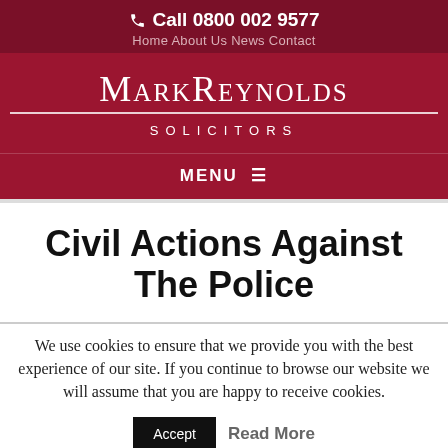Call 0800 002 9577
Home  About Us  News  Contact
[Figure (logo): Mark Reynolds Solicitors law firm logo in white text on dark red background]
MENU
Civil Actions Against The Police
We use cookies to ensure that we provide you with the best experience of our site. If you continue to browse our website we will assume that you are happy to receive cookies.
Accept  Read More